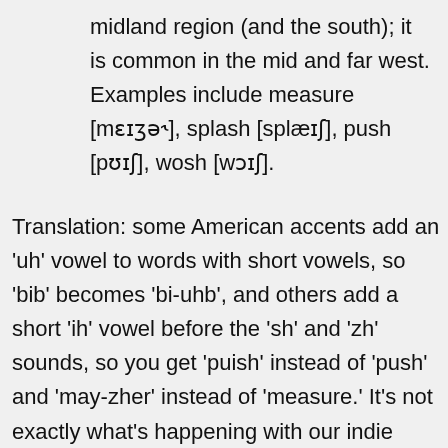midland region (and the south); it is common in the mid and far west. Examples include measure [mɛɪʒə˞], splash [splæɪʃ], push [pʊɪʃ], wosh [wɔɪʃ].
Translation: some American accents add an 'uh' vowel to words with short vowels, so 'bib' becomes 'bi-uhb', and others add a short 'ih' vowel before the 'sh' and 'zh' sounds, so you get 'puish' instead of 'push' and 'may-zher' instead of 'measure.' It's not exactly what's happening with our indie singers, but it's in the same ballpark, and shows that diphthongization of these vowels has been happening for several decades in some types of